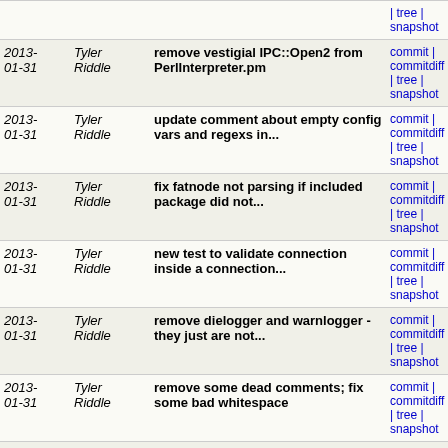| Date | Author | Message | Links |
| --- | --- | --- | --- |
| 2013-01-31 | Tyler Riddle | remove vestigial IPC::Open2 from PerlInterpreter.pm | commit | commitdiff | tree | snapshot |
| 2013-01-31 | Tyler Riddle | update comment about empty config vars and regexs in... | commit | commitdiff | tree | snapshot |
| 2013-01-31 | Tyler Riddle | fix fatnode not parsing if included package did not... | commit | commitdiff | tree | snapshot |
| 2013-01-31 | Tyler Riddle | new test to validate connection inside a connection... | commit | commitdiff | tree | snapshot |
| 2013-01-31 | Tyler Riddle | remove dielogger and warnlogger - they just are not... | commit | commitdiff | tree | snapshot |
| 2013-01-31 | Tyler Riddle | remove some dead comments; fix some bad whitespace | commit | commitdiff | tree | snapshot |
| 2013-01-31 | Tyler Riddle | remove comment for bug that was fixed | commit | commitdiff | tree | snapshot |
| 2013-01-31 | Tyler Riddle | set log forwarding to be enabled by default | commit | commitdiff | tree | snapshot |
| 2013-01-31 | Tyler Riddle | move PIPE signal handler to miniloop and update timeout... | commit | commitdiff | tree | snapshot |
| 2013-01-31 | Tyler Riddle | fix warning if handle is DEMOLISHED after the backing... | commit | commitdiff | tree | snapshot |